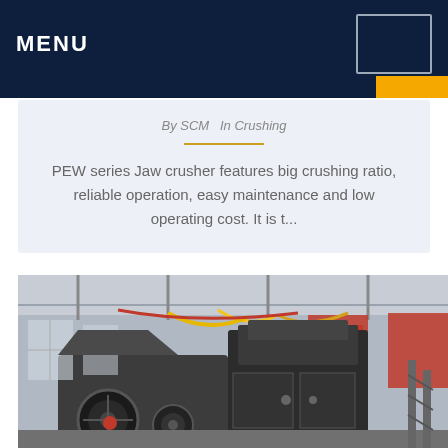MENU
By SCM   In Crushing
PEW series Jaw crusher features big crushing ratio, reliable operation, easy maintenance and low operating cost. It is t...
[Figure (photo): Industrial factory floor showing large PEW series jaw crusher machinery in a manufacturing facility, with red banners and yellow decorative elements visible in the background.]